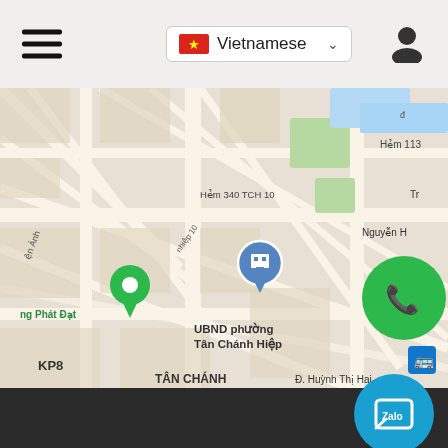Header bar with hamburger menu, Vietnamese language selector, and user icon
[Figure (map): Google Maps screenshot showing streets in Tân Chánh Hiệp area, Vietnam. Shows streets including Hẻm 113, Hẻm 340 TCH 10, UBND phường Tân Chánh Hiệp, KP8, TÂN CHÁNH, Đ. Huỳnh Thị Hai, Nguyễn H label. Green phone FAB overlay on map.]
[Figure (screenshot): Dark background area with floating action buttons on the right: blue chat/zalo button, blue Facebook button, red YouTube button, green scroll-to-top button. A thin divider line is visible.]